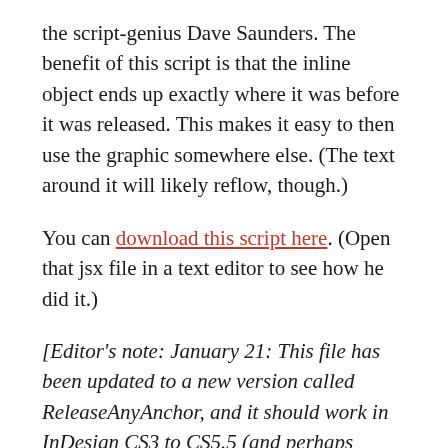the script-genius Dave Saunders. The benefit of this script is that the inline object ends up exactly where it was before it was released. This makes it easy to then use the graphic somewhere else. (The text around it will likely reflow, though.)
You can download this script here. (Open that jsx file in a text editor to see how he did it.)
[Editor's note: January 21: This file has been updated to a new version called ReleaseAnyAnchor, and it should work in InDesign CS3 to CS5.5 (and perhaps beyond).]